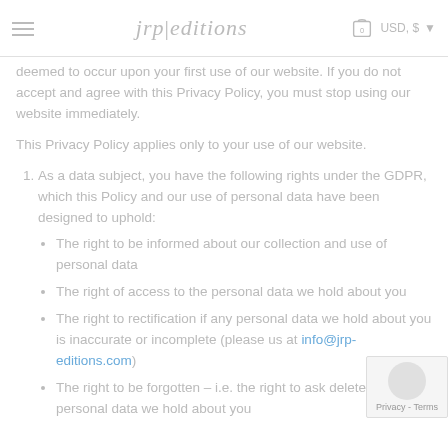jrp|editions  USD, $
deemed to occur upon your first use of our website. If you do not accept and agree with this Privacy Policy, you must stop using our website immediately.
This Privacy Policy applies only to your use of our website.
As a data subject, you have the following rights under the GDPR, which this Policy and our use of personal data have been designed to uphold:
The right to be informed about our collection and use of personal data
The right of access to the personal data we hold about you
The right to rectification if any personal data we hold about you is inaccurate or incomplete (please us at info@jrp-editions.com)
The right to be forgotten – i.e. the right to ask delete any personal data we hold about you